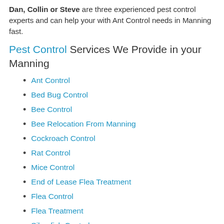Dan, Collin or Steve are three experienced pest control experts and can help your with Ant Control needs in Manning fast.
Pest Control Services We Provide in your Manning
Ant Control
Bed Bug Control
Bee Control
Bee Relocation From Manning
Cockroach Control
Rat Control
Mice Control
End of Lease Flea Treatment
Flea Control
Flea Treatment
Silverfish Control
Possum Removal
Spider Spraying Manning
Spider Control Manning
Termite Inspection Manning